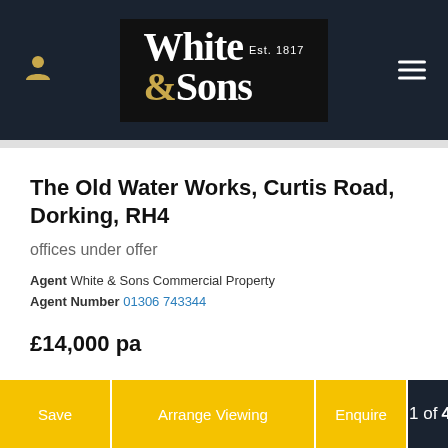White & Sons Est. 1817 — site header
The Old Water Works, Curtis Road, Dorking, RH4
offices under offer
Agent White & Sons Commercial Property
Agent Number 01306 743344
£14,000 pa
Save | Arrange Viewing | Enquire | 1 of 4